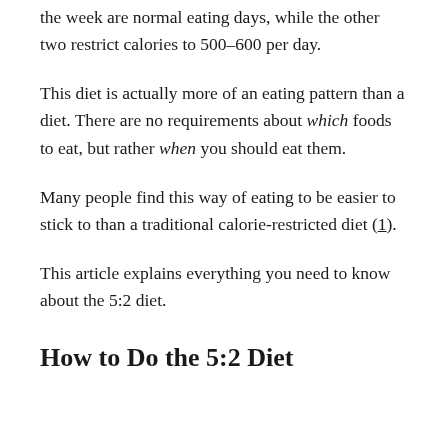the week are normal eating days, while the other two restrict calories to 500–600 per day.
This diet is actually more of an eating pattern than a diet. There are no requirements about which foods to eat, but rather when you should eat them.
Many people find this way of eating to be easier to stick to than a traditional calorie-restricted diet (1).
This article explains everything you need to know about the 5:2 diet.
How to Do the 5:2 Diet